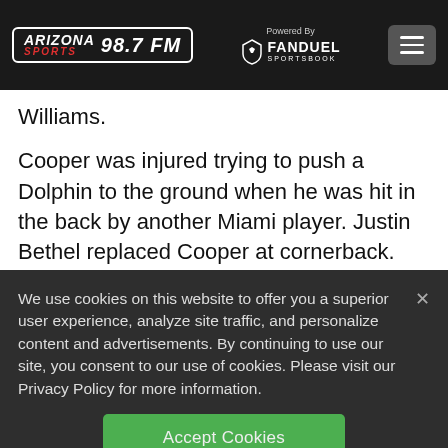Arizona Sports 98.7 FM — Powered By FanDuel Sportsbook
Williams.
Cooper was injured trying to push a Dolphin to the ground when he was hit in the back by another Miami player. Justin Bethel replaced Cooper at cornerback.
We use cookies on this website to offer you a superior user experience, analyze site traffic, and personalize content and advertisements. By continuing to use our site, you consent to our use of cookies. Please visit our Privacy Policy for more information.
Accept Cookies